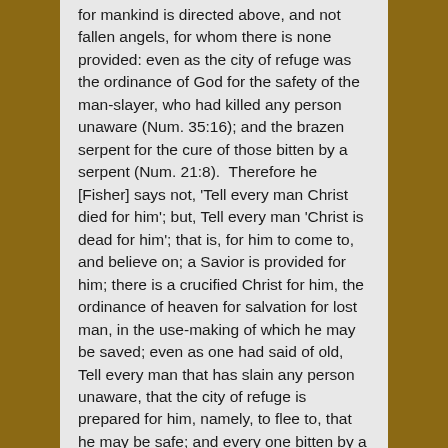for mankind is directed above, and not fallen angels, for whom there is none provided: even as the city of refuge was the ordinance of God for the safety of the man-slayer, who had killed any person unaware (Num. 35:16); and the brazen serpent for the cure of those bitten by a serpent (Num. 21:8). Therefore he [Fisher] says not, 'Tell every man Christ died for him'; but, Tell every man 'Christ is dead for him'; that is, for him to come to, and believe on; a Savior is provided for him; there is a crucified Christ for him, the ordinance of heaven for salvation for lost man, in the use-making of which he may be saved; even as one had said of old, Tell every man that has slain any person unaware, that the city of refuge is prepared for him, namely, to flee to, that he may be safe; and every one bitten by a serpent, that the brazen serpent is set up on a pole for him, namely, to look unto,